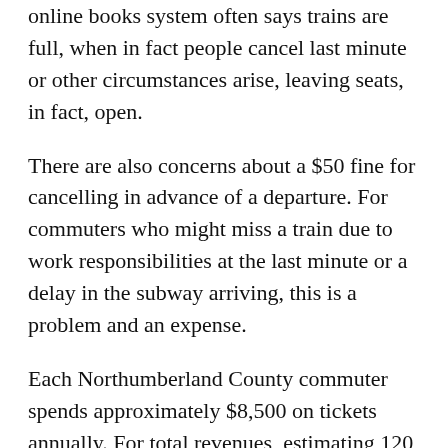online books system often says trains are full, when in fact people cancel last minute or other circumstances arise, leaving seats, in fact, open.
There are also concerns about a $50 fine for cancelling in advance of a departure. For commuters who might miss a train due to work responsibilities at the last minute or a delay in the subway arriving, this is a problem and an expense.
Each Northumberland County commuter spends approximately $8,500 on tickets annually. For total revenues, estimating 120 passengers boarding regularly, it represents nearly a million dollars.
The commuters simply want the open-ended tickets,